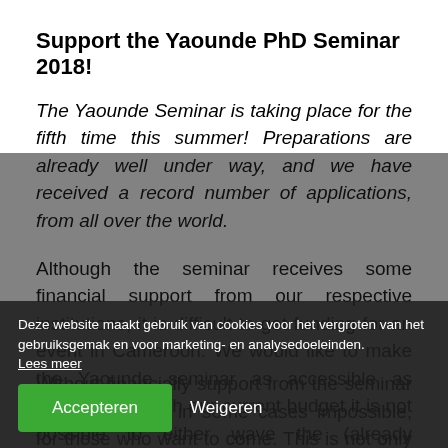Support the Yaounde PhD Seminar 2018!
The Yaounde Seminar is taking place for the fifth time this summer! Preparations are already well under way, and we have received a record number of applications, from all over the world.
Although the seminar receives some financial support from our respective institutions, it is difficult to get funding for an event in Cameroon. We would like to make the Yaounde seminar as accessible as possible, but with our current budget it is not possible to either wave the (already reduced) participation fee for participants from developing countries or to provide travel grants. The higher number of participants puts pressure on our budget.
Without financial support from the seminar is very difficult, in some cases impossible, for those who want to come. This is not only bad news for the
Deze website maakt gebruik van cookies voor het vergroten van het gebruiksgemak en voor marketing- en analysedoeleinden. Lees meer
Accepteren   Weigeren